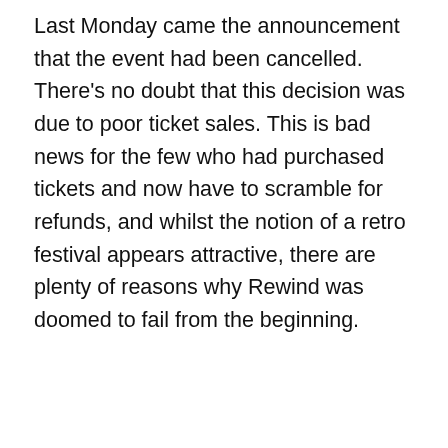Last Monday came the announcement that the event had been cancelled. There's no doubt that this decision was due to poor ticket sales. This is bad news for the few who had purchased tickets and now have to scramble for refunds, and whilst the notion of a retro festival appears attractive, there are plenty of reasons why Rewind was doomed to fail from the beginning.
[Figure (infographic): Pocket Casts advertisement banner - red background with text 'An app by listeners, for listeners.' and Pocket Casts logo, showing a smartphone image]
REPORT THIS AD
Privacy & Cookies: This site uses cookies. By continuing to use this website, you agree to their use.
To find out more, including how to control cookies, see here: Cookie Policy
Close and accept